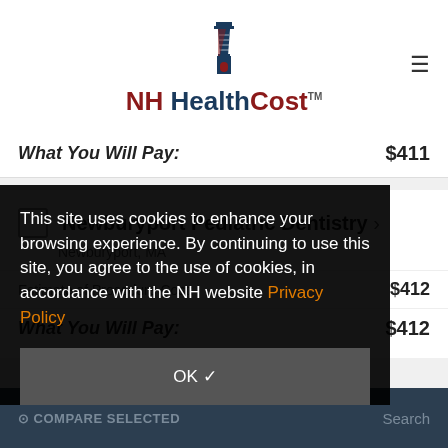NH HealthCost
What You Will Pay: $411
Newburyport Pediatric Dentistry > Newburyport, MA
Estimate of Procedure Cost: $412
What You Will Pay: $412
This site uses cookies to enhance your browsing experience. By continuing to use this site, you agree to the use of cookies, in accordance with the NH website Privacy Policy
OK ✓
COMPARE SELECTED   Search